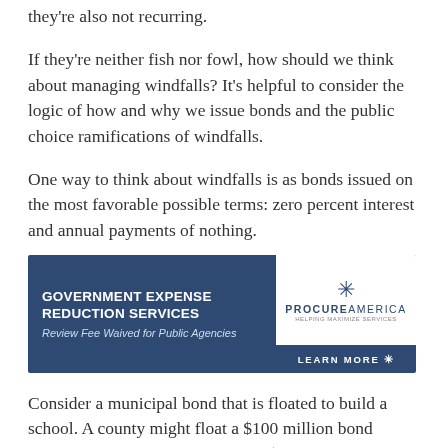they're also not recurring.
If they're neither fish nor fowl, how should we think about managing windfalls? It's helpful to consider the logic of how and why we issue bonds and the public choice ramifications of windfalls.
One way to think about windfalls is as bonds issued on the most favorable possible terms: zero percent interest and annual payments of nothing.
[Figure (infographic): Advertisement banner for ProcureAmerica Government Expense Reduction Services. Blue background on left with white bold text reading GOVERNMENT EXPENSE REDUCTION SERVICES and italic text Review Fee Waived for Public Agencies. Center shows hands joined together photo. Right side shows white background with ProcureAmerica logo and star emblem, dark blue bottom bar with LEARN MORE text.]
Consider a municipal bond that is floated to build a school. A county might float a $100 million bond repayable over 30 years that costs $160 million to repay in current dollars. This could make sense, as